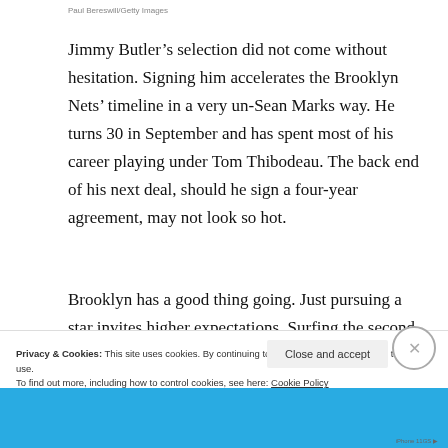Paul Bereswill/Getty Images
Jimmy Butler’s selection did not come without hesitation. Signing him accelerates the Brooklyn Nets’ timeline in a very un-Sean Marks way. He turns 30 in September and has spent most of his career playing under Tom Thibodeau. The back end of his next deal, should he sign a four-year agreement, may not look so hot.
Brooklyn has a good thing going. Just pursuing a star invites higher expectations. Surfing the second
Privacy & Cookies: This site uses cookies. By continuing to use this website, you agree to their use.
To find out more, including how to control cookies, see here: Cookie Policy
Close and accept